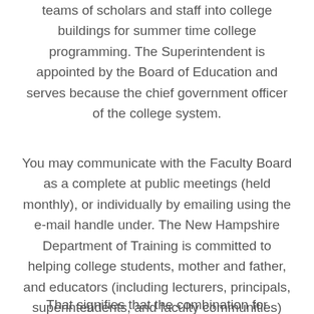teams of scholars and staff into college buildings for summer time college programming. The Superintendent is appointed by the Board of Education and serves because the chief government officer of the college system.
You may communicate with the Faculty Board as a complete at public meetings (held monthly), or individually by emailing using the e-mail handle under. The New Hampshire Department of Training is committed to helping college students, mother and father, and educators (including lecturers, principals, superintendents, and faculty communities) meet the educational needs of each scholar.
That signifies that the combination for facilitating...